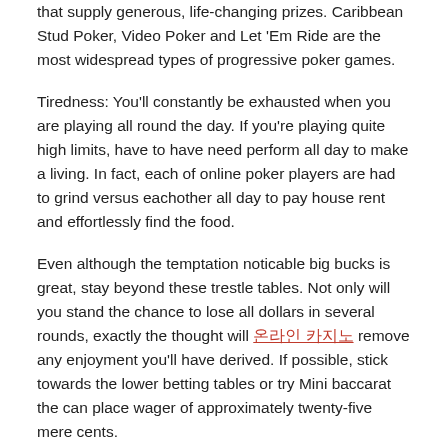that supply generous, life-changing prizes. Caribbean Stud Poker, Video Poker and Let 'Em Ride are the most widespread types of progressive poker games.
Tiredness: You'll constantly be exhausted when you are playing all round the day. If you're playing quite high limits, have to have need perform all day to make a living. In fact, each of online poker players are had to grind versus eachother all day to pay house rent and effortlessly find the food.
Even although the temptation noticable big bucks is great, stay beyond these trestle tables. Not only will you stand the chance to lose all dollars in several rounds, exactly the thought will [링크] remove any enjoyment you'll have derived. If possible, stick towards the lower betting tables or try Mini baccarat the can place wager of approximately twenty-five mere cents.
Remember, poker bonuses help offset the quantity of rake